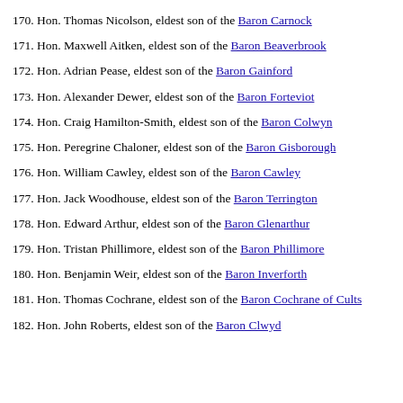170. Hon. Thomas Nicolson, eldest son of the Baron Carnock
171. Hon. Maxwell Aitken, eldest son of the Baron Beaverbrook
172. Hon. Adrian Pease, eldest son of the Baron Gainford
173. Hon. Alexander Dewer, eldest son of the Baron Forteviot
174. Hon. Craig Hamilton-Smith, eldest son of the Baron Colwyn
175. Hon. Peregrine Chaloner, eldest son of the Baron Gisborough
176. Hon. William Cawley, eldest son of the Baron Cawley
177. Hon. Jack Woodhouse, eldest son of the Baron Terrington
178. Hon. Edward Arthur, eldest son of the Baron Glenarthur
179. Hon. Tristan Phillimore, eldest son of the Baron Phillimore
180. Hon. Benjamin Weir, eldest son of the Baron Inverforth
181. Hon. Thomas Cochrane, eldest son of the Baron Cochrane of Cults
182. Hon. John Roberts, eldest son of the Baron Clwyd